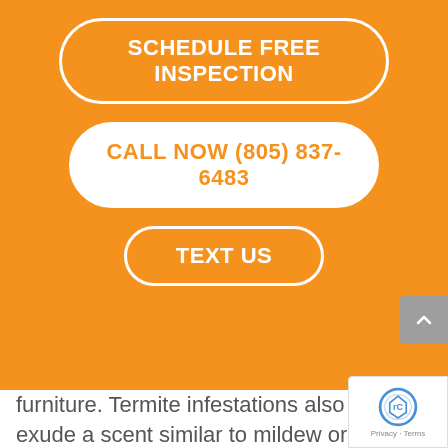[Figure (screenshot): Orange banner with three call-to-action buttons: SCHEDULE FREE INSPECTION, CALL NOW (805) 837-6483, TEXT US]
furniture. Termite infestations also can exude a scent similar to mildew or mold. Subterranean termites also access above-ground food sources through mud tunnels they create from saliva, mud and feces. These tunnels are located near the foundation of infested homes.
We can prevent incursion in these areas with a preventative termite control